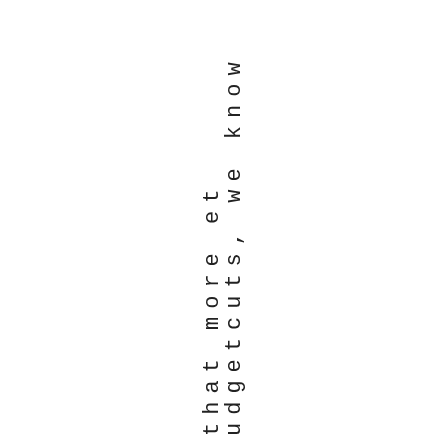udgetcuts, we know that more et